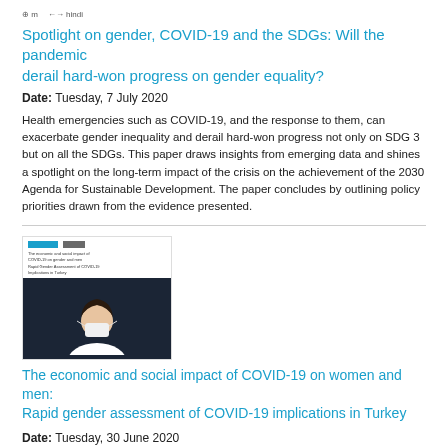⊕ m   ←→ Hindi
Spotlight on gender, COVID-19 and the SDGs: Will the pandemic derail hard-won progress on gender equality?
Date: Tuesday, 7 July 2020
Health emergencies such as COVID-19, and the response to them, can exacerbate gender inequality and derail hard-won progress not only on SDG 3 but on all the SDGs. This paper draws insights from emerging data and shines a spotlight on the long-term impact of the crisis on the achievement of the 2030 Agenda for Sustainable Development. The paper concludes by outlining policy priorities drawn from the evidence presented.
[Figure (photo): Thumbnail of a document cover showing a person wearing a face mask against a dark background, with logos at the top.]
The economic and social impact of COVID-19 on women and men: Rapid gender assessment of COVID-19 implications in Turkey
Date: Tuesday, 30 June 2020